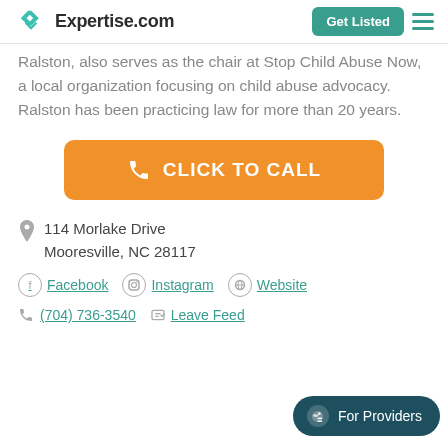Expertise.com — Get Listed
Ralston, also serves as the chair at Stop Child Abuse Now, a local organization focusing on child abuse advocacy. Ralston has been practicing law for more than 20 years.
[Figure (other): Orange 'CLICK TO CALL' button with phone icon]
114 Morlake Drive
Mooresville, NC 28117
Facebook   Instagram   Website
(704) 736-3540   Leave Feed...